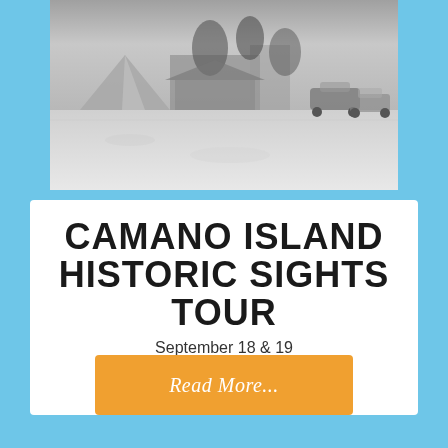[Figure (photo): Black and white historical photograph of a campsite or park area with a tent on the left, trees and buildings in the background, and old cars parked on the right side. Snow or light ground cover visible.]
CAMANO ISLAND HISTORIC SIGHTS TOUR
September 18 & 19
Read More...